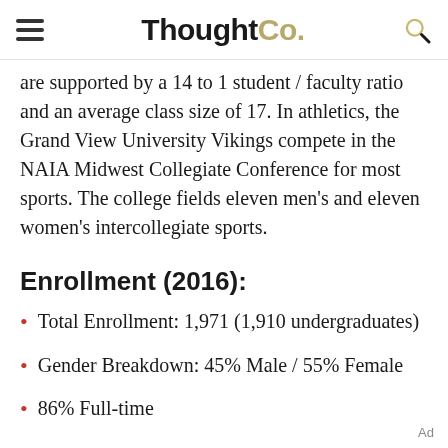ThoughtCo.
are supported by a 14 to 1 student / faculty ratio and an average class size of 17. In athletics, the Grand View University Vikings compete in the NAIA Midwest Collegiate Conference for most sports. The college fields eleven men's and eleven women's intercollegiate sports.
Enrollment (2016):
Total Enrollment: 1,971 (1,910 undergraduates)
Gender Breakdown: 45% Male / 55% Female
86% Full-time